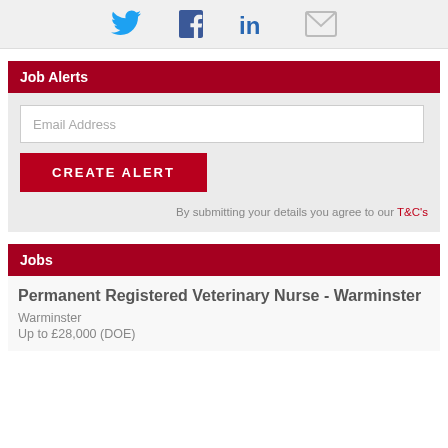[Figure (illustration): Social media icons: Twitter (bird, blue), Facebook (f, dark blue), LinkedIn (in, dark blue), Email (envelope, grey)]
Job Alerts
Email Address
CREATE ALERT
By submitting your details you agree to our T&C's
Jobs
Permanent Registered Veterinary Nurse - Warminster
Warminster
Up to £28,000 (DOE)